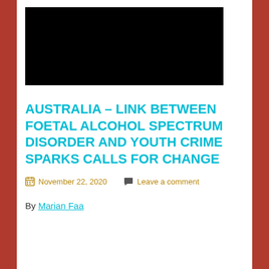[Figure (photo): Black rectangular image block at top of article]
AUSTRALIA – LINK BETWEEN FOETAL ALCOHOL SPECTRUM DISORDER AND YOUTH CRIME SPARKS CALLS FOR CHANGE
November 22, 2020   Leave a comment
By Marian Faa